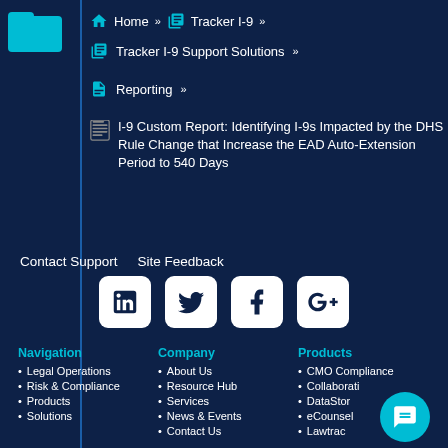Home » Tracker I-9 »
Tracker I-9 Support Solutions »
Reporting »
I-9 Custom Report: Identifying I-9s Impacted by the DHS Rule Change that Increase the EAD Auto-Extension Period to 540 Days
Contact Support   Site Feedback
[Figure (logo): Social media icons: LinkedIn, Twitter, Facebook, Google+]
Navigation
Legal Operations
Risk & Compliance
Products
Solutions
Company
About Us
Resource Hub
Services
News & Events
Contact Us
Products
CMO Compliance
Collaborati
DataStor
eCounsel
Lawtrac